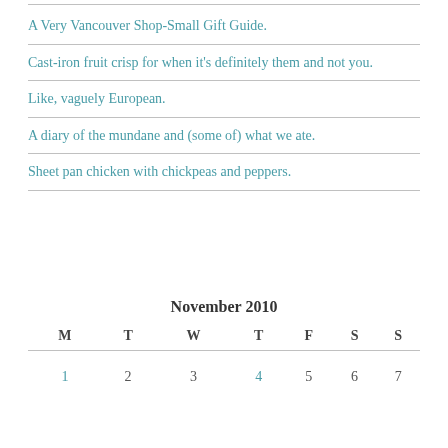A Very Vancouver Shop-Small Gift Guide.
Cast-iron fruit crisp for when it's definitely them and not you.
Like, vaguely European.
A diary of the mundane and (some of) what we ate.
Sheet pan chicken with chickpeas and peppers.
November 2010
| M | T | W | T | F | S | S |
| --- | --- | --- | --- | --- | --- | --- |
| 1 | 2 | 3 | 4 | 5 | 6 | 7 |